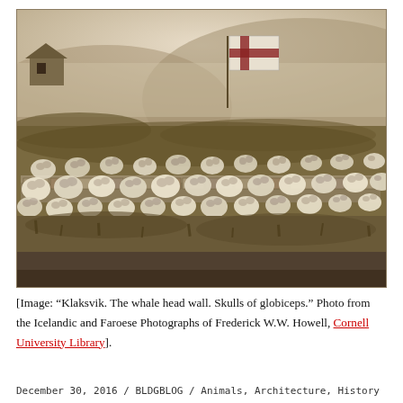[Figure (photo): Sepia-toned historical photograph titled 'Klaksvik. The whale head wall. Skulls of globiceps.' Shows numerous whale skulls arranged in rows along a low stone wall, with grass and hillside in background and a flag visible.]
[Image: “Klaksvik. The whale head wall. Skulls of globiceps.” Photo from the Icelandic and Faroese Photographs of Frederick W.W. Howell, Cornell University Library].
December 30, 2016 / BLDGBLOG / Animals, Architecture, History